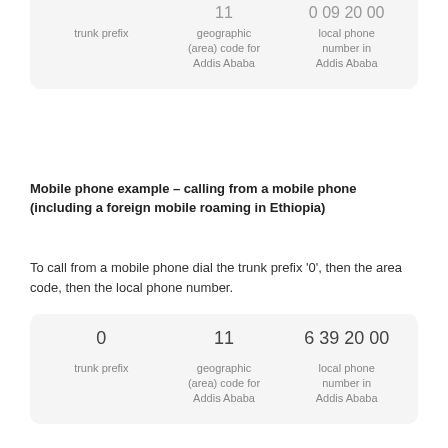[Figure (infographic): Box showing phone number parts: trunk prefix (top, partially visible), geographic (area) code for Addis Ababa (11), local phone number in Addis Ababa (partially visible at top)]
Mobile phone example – calling from a mobile phone (including a foreign mobile roaming in Ethiopia)
To call from a mobile phone dial the trunk prefix '0', then the area code, then the local phone number.
[Figure (infographic): Box showing phone number parts: 0 (trunk prefix), 11 (geographic area code for Addis Ababa), 6 39 20 00 (local phone number in Addis Ababa)]